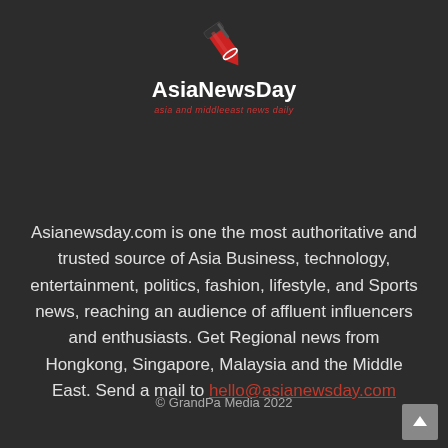[Figure (logo): AsiaNewsDay logo with a red pen/pencil icon above the text 'AsiaNewsDay' and subtitle 'asia and middleeast news daily']
Asianewsday.com is one the most authoritative and trusted source of Asia Business, technology, entertainment, politics, fashion, lifestyle, and Sports news, reaching an audience of affluent influencers and enthusiasts. Get Regional news from Hongkong, Singapore, Malaysia and the Middle East. Send a mail to hello@asianewsday.com
© GrandPa Media 2022